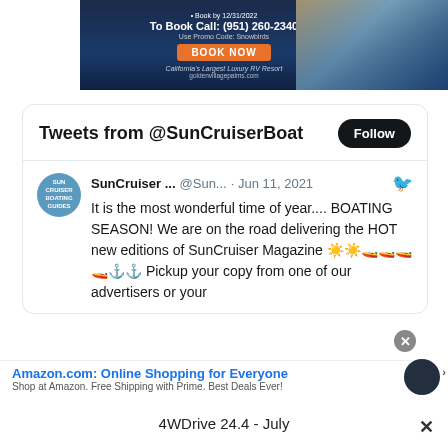[Figure (infographic): Advertisement banner for Golden Village Palms RV Resort with dark blue background, orange BOOK NOW button, pool/couple photo, text: Book by 12/31/2022, To Book Call: (951) 260-2340, Use Promo Code: Snowbirds, California's Largest Luxury RV Resort, goldenvillagepalms.com]
Tweets from @SunCruiserBoat
Follow
SunCruiser ...  @Sun...  · Jun 11, 2021
It is the most wonderful time of year.... BOATING SEASON! We are on the road delivering the HOT new editions of SunCruiser Magazine 🌞🌞🚤🚤🚤🚤⚓⚓ Pickup your copy from one of our advertisers or your
Amazon.com: Online Shopping for Everyone
Shop at Amazon. Free Shipping with Prime. Best Deals Ever!
4WDrive 24.4 - July